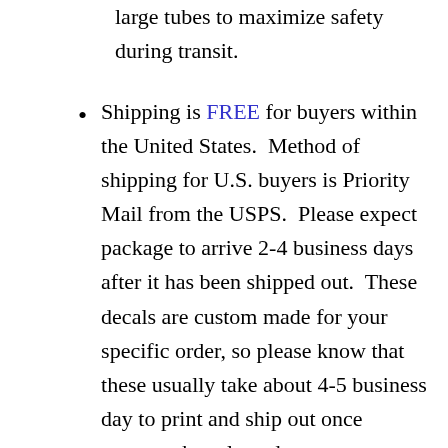large tubes to maximize safety during transit.
Shipping is FREE for buyers within the United States.  Method of shipping for U.S. buyers is Priority Mail from the USPS.  Please expect package to arrive 2-4 business days after it has been shipped out.  These decals are custom made for your specific order, so please know that these usually take about 4-5 business day to print and ship out once payment has cleared.